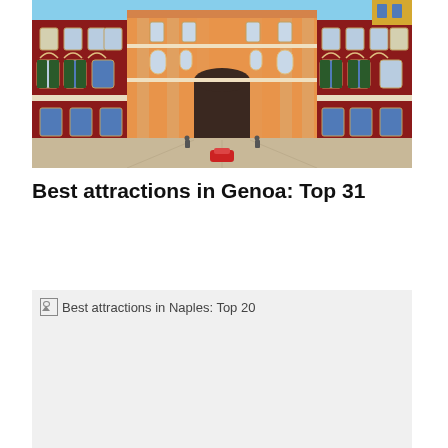[Figure (photo): Aerial/overhead view of a colorful Italian palace courtyard in Genoa, featuring red and orange baroque architecture with arched windows and a central archway entrance. Vibrant multi-colored buildings surround the courtyard.]
Best attractions in Genoa: Top 31
Read more
[Figure (photo): Best attractions in Naples: Top 20 — broken/loading image placeholder with grey background]